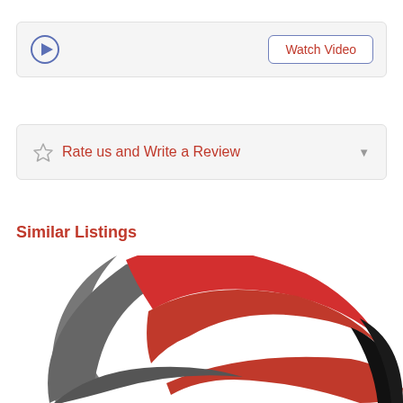[Figure (screenshot): Video player bar with play button icon and Watch Video button]
[Figure (screenshot): Rate us and Write a Review collapsible bar with star icon and dropdown arrow]
Similar Listings
[Figure (logo): Large swoosh-style logo with red, gray, and black curved arc shapes forming a circular design]